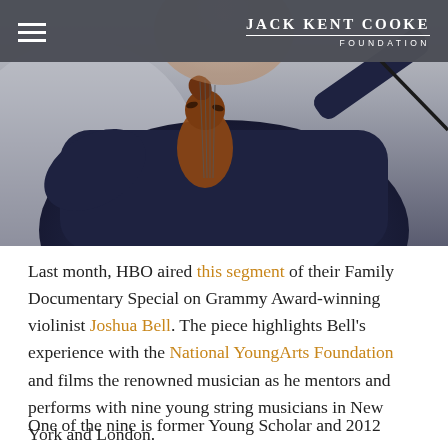Jack Kent Cooke Foundation
[Figure (photo): Person in dark navy clothing holding a violin/cello instrument, photographed from torso up against a light gray background. The photo is partially overlaid by a dark semi-transparent navigation header.]
Last month, HBO aired this segment of their Family Documentary Special on Grammy Award-winning violinist Joshua Bell. The piece highlights Bell's experience with the National YoungArts Foundation and films the renowned musician as he mentors and performs with nine young string musicians in New York and London.
One of the nine is former Young Scholar and 2012